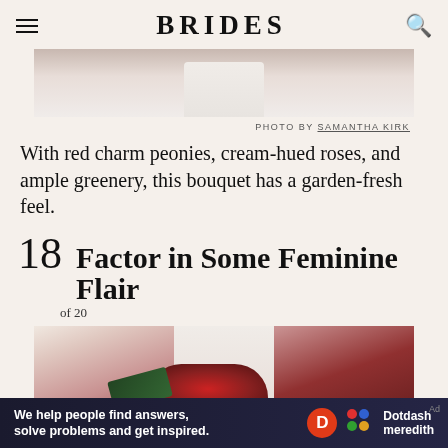BRIDES
[Figure (photo): Partial photo of a bride in a white dress holding a bouquet, cropped at top of page]
PHOTO BY SAMANTHA KIRK
With red charm peonies, cream-hued roses, and ample greenery, this bouquet has a garden-fresh feel.
18 Factor in Some Feminine Flair
of 20
[Figure (photo): Photo of a bride in a white lace dress holding a bouquet of red peonies and greenery, cropped]
We help people find answers, solve problems and get inspired. Dotdash meredith